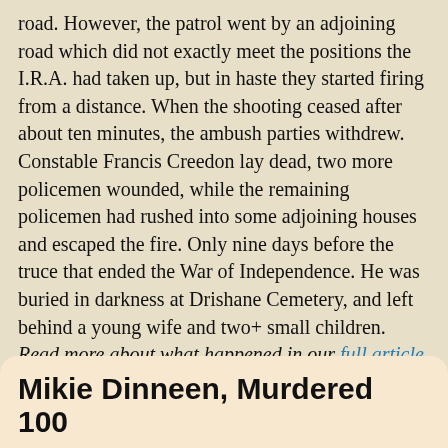road. However, the patrol went by an adjoining road which did not exactly meet the positions the I.R.A. had taken up, but in haste they started firing from a distance. When the shooting ceased after about ten minutes, the ambush parties withdrew. Constable Francis Creedon lay dead, two more policemen wounded, while the remaining policemen had rushed into some adjoining houses and escaped the fire. Only nine days before the truce that ended the War of Independence. He was buried in darkness at Drishane Cemetery, and left behind a young wife and two+ small children.  Read more about what happened in our full article on him.
Jul 2, 2021 by michaeld  Leave a comment  History  War of Independence
Mikie Dinneen, Murdered 100